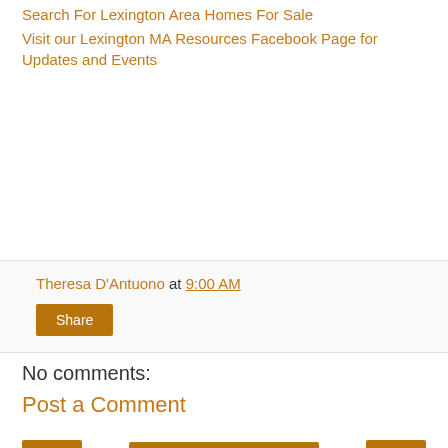Search For Lexington Area Homes For Sale
Visit our Lexington MA Resources Facebook Page for Updates and Events
Theresa D'Antuono at 9:00 AM
Share
No comments:
Post a Comment
Home
View web version
Powered by Blogger.